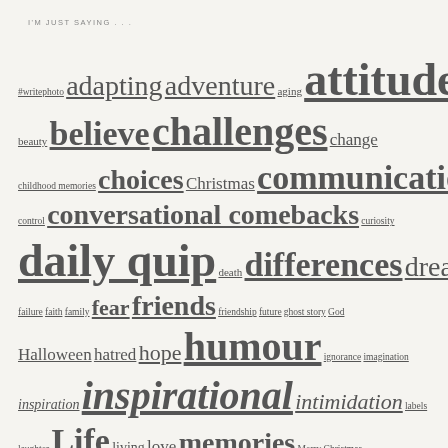I'M JUST SAYING . . .
[Figure (infographic): A word cloud / tag cloud listing blog post categories and tags in varying font sizes reflecting frequency of use. Tags include: #writephoto, adapting, adventure, aging, attitude, beauty, believe, challenges, change, childhood memories, choices, Christmas, communication, control, conversational comebacks, curiosity, daily quip, death, differences, dreams, evolution, failure, faith, family, fear, friends, friendship, future, ghost story, God, Halloween, hatred, hope, humour, ignorance, imagination, inspiration, inspirational, intimidation, labels, laughter, Life, living, love, memories, Merry Christmas, milestones, mother nature, MS, nature, OUR WORLD, passage of time, people, perception, perfection, perspective, photo 101, poem, poetry, positive changes, rhyme, Santa Claus, Shady Quip, short story, smile, society, thinking, time, truth, understanding, wheelchair, whimsy, wisdom, words, writing.]